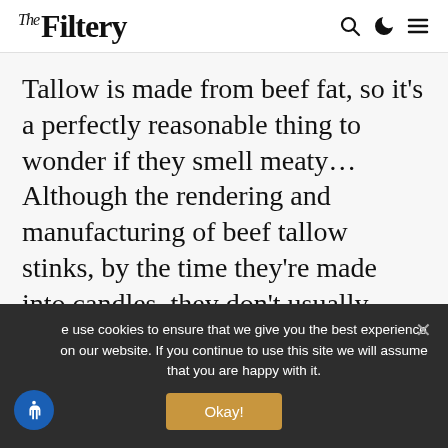The Filtery
Tallow is made from beef fat, so it’s a perfectly reasonable thing to wonder if they smell meaty… Although the rendering and manufacturing of beef tallow stinks, by the time they’re made into candles, they don’t usually smell
we use cookies to ensure that we give you the best experience on our website. If you continue to use this site we will assume that you are happy with it.